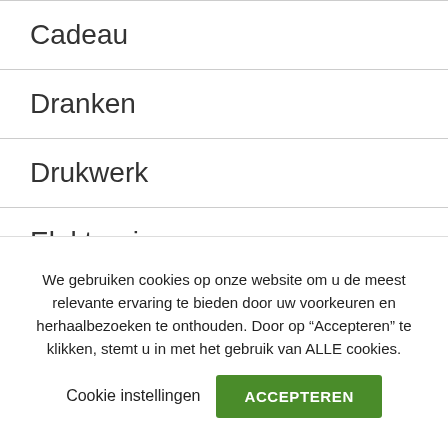Cadeau
Dranken
Drukwerk
Elektronia
Elektronica
Feest
We gebruiken cookies op onze website om u de meest relevante ervaring te bieden door uw voorkeuren en herhaalbezoeken te onthouden. Door op “Accepteren” te klikken, stemt u in met het gebruik van ALLE cookies.
Cookie instellingen
ACCEPTEREN